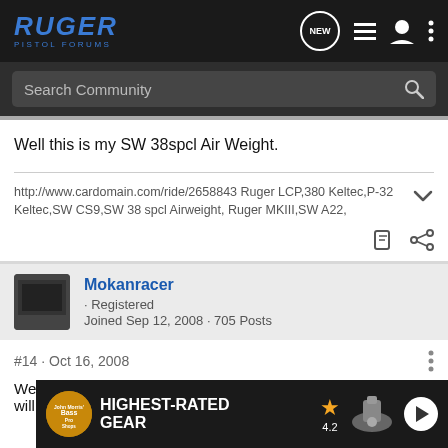RUGER PISTOL FORUMS
Well this is my SW 38spcl Air Weight.
http://www.cardomain.com/ride/2658843 Ruger LCP,380 Keltec,P-32 Keltec,SW CS9,SW 38 spcl Airweight, Ruger MKIII,SW A22,
Mokanracer · Registered
Joined Sep 12, 2008 · 705 Posts
#14 · Oct 16, 2008
Well the ... They will fire a...
[Figure (advertisement): Bass Pro Shops advertisement banner with 'HIGHEST-RATED GEAR' text, star rating 4.2, product image, and play button]